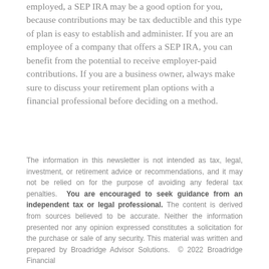employed, a SEP IRA may be a good option for you, because contributions may be tax deductible and this type of plan is easy to establish and administer. If you are an employee of a company that offers a SEP IRA, you can benefit from the potential to receive employer-paid contributions. If you are a business owner, always make sure to discuss your retirement plan options with a financial professional before deciding on a method.
The information in this newsletter is not intended as tax, legal, investment, or retirement advice or recommendations, and it may not be relied on for the purpose of avoiding any federal tax penalties. You are encouraged to seek guidance from an independent tax or legal professional. The content is derived from sources believed to be accurate. Neither the information presented nor any opinion expressed constitutes a solicitation for the purchase or sale of any security. This material was written and prepared by Broadridge Advisor Solutions. © 2022 Broadridge Financial